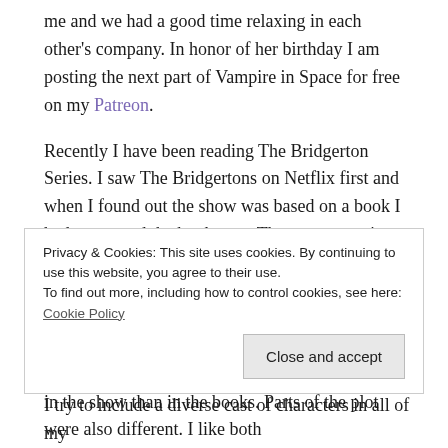me and we had a good time relaxing in each other's company. In honor of her birthday I am posting the next part of Vampire in Space for free on my Patreon.
Recently I have been reading The Bridgerton Series. I saw The Bridgertons on Netflix first and when I found out the show was based on a book I had to go read the books too. There was a major factor that disappointed me about the books and that was that the characters weren't diverse like in the show. The duke was not a black man like in the show. There were no women of color or a queen even. Mrs. Whistledown was revealed far earlier in the show than in the books. Parts of the plot were also different. I like both
Privacy & Cookies: This site uses cookies. By continuing to use this website, you agree to their use. To find out more, including how to control cookies, see here: Cookie Policy
I try to include a diverse cast of characters in all of my